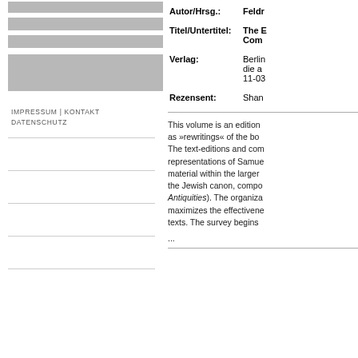[Figure (other): Gray decorative bars in left sidebar]
IMPRESSUM | KONTAKT
DATENSCHUTZ
| Label | Value |
| --- | --- |
| Autor/Hrsg.: | Feldr... [truncated] |
| Titel/Untertitel: | The E... Com... |
| Verlag: | Berlin... die a... 11-03... |
| Rezensent: | Shan... |
This volume is an edition as »rewritings« of the bo... The text-editions and com... representations of Samue... material within the larger... the Jewish canon, compo... Antiquities). The organiza... maximizes the effectivene... texts. The survey begins ...
...